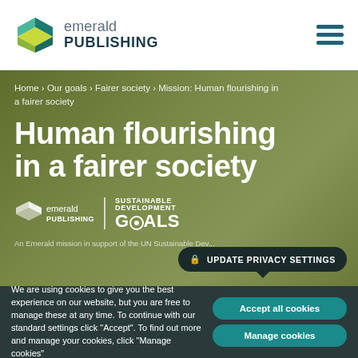emerald PUBLISHING
Home › Our goals › Fairer society › Mission: Human flourishing in a fairer society
Human flourishing in a fairer society
[Figure (logo): Emerald Publishing Sustainable Development Goals logo badge]
An Emerald mission in support of the UN Sustainable Dev...
UPDATE PRIVACY SETTINGS
We are using cookies to give you the best experience on our website, but you are free to manage these at any time. To continue with our standard settings click "Accept". To find out more and manage your cookies, click "Manage cookies"
Accept all cookies
Manage cookies